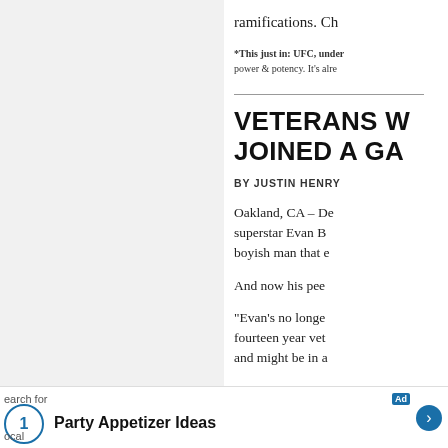ramifications. Ch
*This just in: UFC, under  power & potency. It's alre
VETERANS W JOINED A GA
BY JUSTIN HENRY
Oakland, CA – De superstar Evan B boyish man that e
And now his pee
“Evan’s no longe fourteen year vet and might be in a
Party Appetizer Ideas